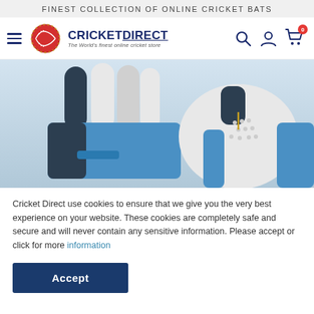FINEST COLLECTION OF ONLINE CRICKET BATS
[Figure (logo): Cricket Direct logo with red cricket ball icon and tagline 'The World's finest online cricket store']
[Figure (photo): Cricket batting gloves shown from two angles — left showing finger padding detail in blue, dark navy and white; right showing palm side grip in white and blue leather]
Cricket Direct use cookies to ensure that we give you the very best experience on your website. These cookies are completely safe and secure and will never contain any sensitive information. Please accept or click for more information
Accept